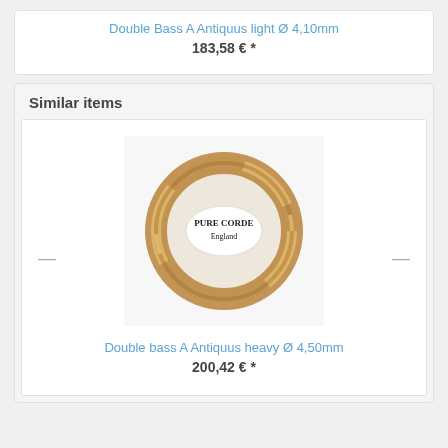Double Bass A Antiquus light Ø 4,10mm
183,58 € *
Similar items
[Figure (photo): A golden coiled string/rope ring with a white oval label in the center reading PURE CORDE England]
Double bass A Antiquus heavy Ø 4,50mm
200,42 € *